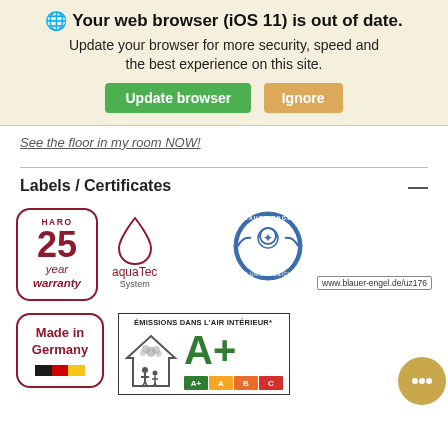🌐 Your web browser (iOS 11) is out of date. Update your browser for more security, speed and the best experience on this site.
Update browser | Ignore
See the floor in my room NOW!
Labels / Certificates
[Figure (logo): HARO 25 year warranty badge - rounded rectangle border in dark red]
[Figure (logo): aquaTec System logo - water drop icon in dark red with text]
[Figure (logo): Blauer Engel environmental certification seal with www.blauer-engel.de/uz176]
[Figure (logo): Made in Germany badge with German flag]
[Figure (infographic): EMISSIONS DANS L'AIR INTERIEUR* French indoor air emissions rating label showing A+ rating with scale A+, A, B, C]